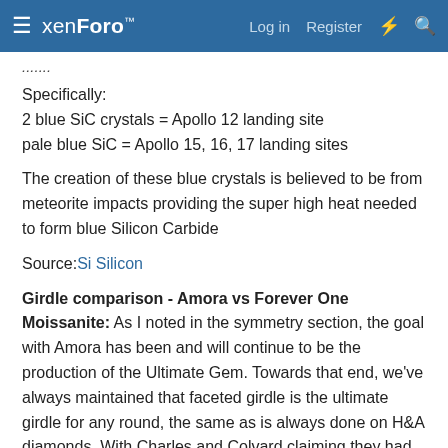xenForo™ — Log in  Register  ⚡ 🔍
... (truncated text)
Specifically:
2 blue SiC crystals = Apollo 12 landing site
pale blue SiC = Apollo 15, 16, 17 landing sites
The creation of these blue crystals is believed to be from meteorite impacts providing the super high heat needed to form blue Silicon Carbide
Source: Si Silicon
Girdle comparison - Amora vs Forever One Moissanite: As I noted in the symmetry section, the goal with Amora has been and will continue to be the production of the Ultimate Gem. Towards that end, we've always maintained that faceted girdle is the ultimate girdle for any round, the same as is always done on H&A diamonds. With Charles and Colvard claiming they had 58 facet rounds (see below) we purchased 8 Forever One Moissanites to have NAGL verify their facet count. As part of